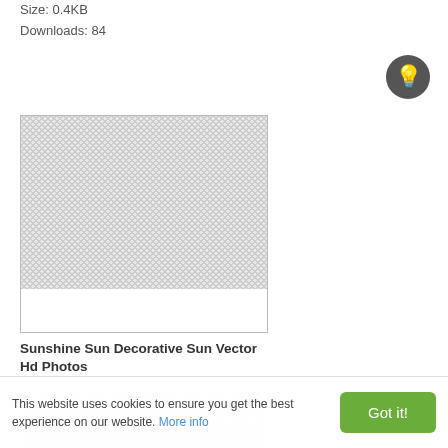Size: 0.4KB
Downloads: 84
[Figure (illustration): Placeholder image box with checkered pattern representing a decorative sun vector image thumbnail]
Sunshine Sun Decorative Sun Vector Hd Photos
Format: JPG
Size: 9.1KB
Downloads: 84
[Figure (illustration): Partial placeholder image box at bottom of page]
This website uses cookies to ensure you get the best experience on our website. More info